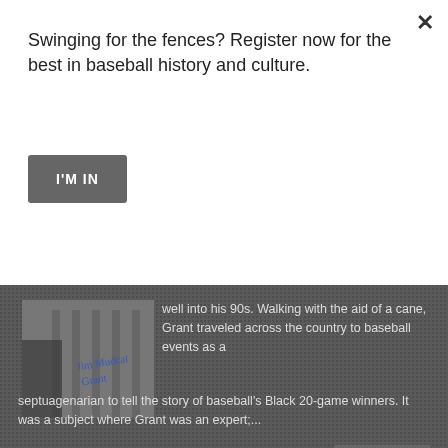Swinging for the fences? Register now for the best in baseball history and culture.
I'M IN
[Figure (photo): Black and white photo of a baseball player with a blue autograph signature]
well into his 90s. Walking with the aid of a cane, Grant traveled across the country to baseball events as a septuagenarian to tell the story of baseball's Black 20-game winners. It was a subject where Grant was an expert;...
Read More
← Newer Posts
Home
Older Posts →
Search
About Me